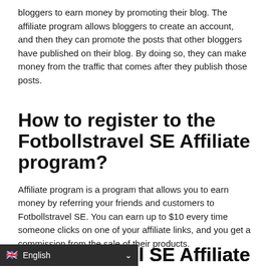bloggers to earn money by promoting their blog. The affiliate program allows bloggers to create an account, and then they can promote the posts that other bloggers have published on their blog. By doing so, they can make money from the traffic that comes after they publish those posts.
How to register to the Fotbollstravel SE Affiliate program?
Affiliate program is a program that allows you to earn money by referring your friends and customers to Fotbollstravel SE. You can earn up to $10 every time someone clicks on one of your affiliate links, and you get a commission from the sale of their products.
How much can I earn with the Fotbollstravel SE Affiliate